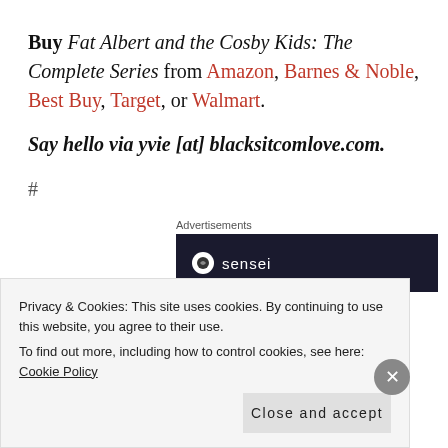Buy Fat Albert and the Cosby Kids: The Complete Series from Amazon, Barnes & Noble, Best Buy, Target, or Walmart.
Say hello via yvie [at] blacksitcomlove.com.
#
Advertisements
[Figure (other): Dark advertisement banner with a circular logo and the word 'sensei']
Privacy & Cookies: This site uses cookies. By continuing to use this website, you agree to their use. To find out more, including how to control cookies, see here: Cookie Policy
Close and accept